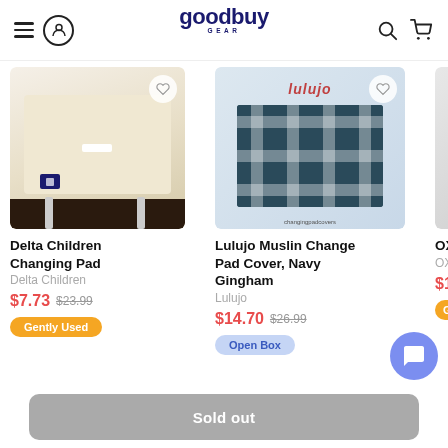goodbuy GEAR - navigation header with hamburger menu, user icon, logo, search, cart
[Figure (photo): Delta Children Changing Pad product photo - cream/beige folded changing pad on dark surface]
Delta Children Changing Pad
Delta Children
$7.73  $23.99  Gently Used
[Figure (photo): Lulujo Muslin Change Pad Cover Navy Gingham - packaged in clear plastic bag showing navy and white checkered fabric]
Lulujo Muslin Change Pad Cover, Navy Gingham
Lulujo
$14.70  $26.99  Open Box
OXO T... with G...
OXO T...
$14.9... Gent...
Sold out